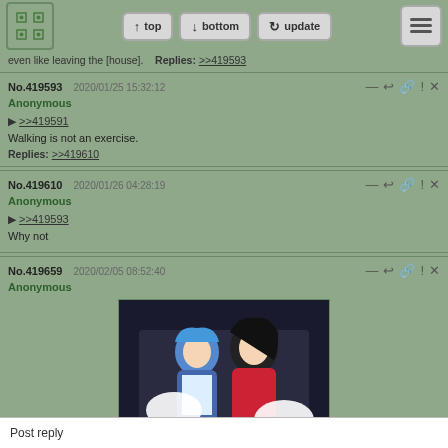top | bottom | update
even like leaving the [house]. Replies: >>419593
No.419593  2020/01/25 15:32:12
Anonymous

► >>419591
Walking is not an exercise.

Replies: >>419610
No.419610  2020/01/26 04:28:19
Anonymous

► >>419593
Why not
No.419659  2020/02/05 08:52:40
Anonymous
[Figure (illustration): Anime-style illustration of two female characters, one with blue hair in a blue/white outfit and one with black hair in a red dress, with speech bubbles]
Post reply